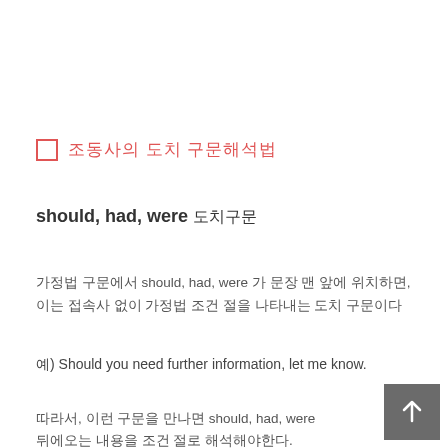□ 조동사의 도치 구문해석법
should, had, were 도치구문
가정법 구문에서 should, had, were 가 문장 맨 앞에 위치하면, 이는 접속사 없이 가정법 조건 절을 나타내는 도치 구문이다
예) Should you need further information, let me know.
따라서, 이런 구문을 만나면 should, had, were 뒤에오는 내용을 조건 절로 해석해야한다.